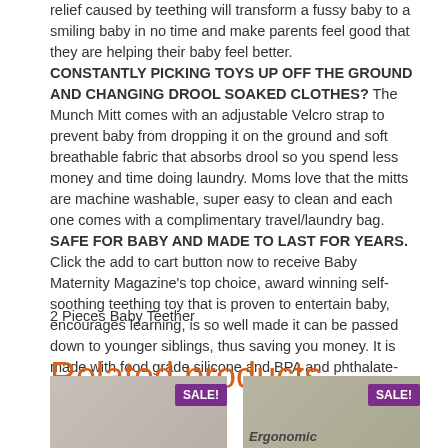relief caused by teething will transform a fussy baby to a smiling baby in no time and make parents feel good that they are helping their baby feel better. CONSTANTLY PICKING TOYS UP OFF THE GROUND AND CHANGING DROOL SOAKED CLOTHES? The Munch Mitt comes with an adjustable Velcro strap to prevent baby from dropping it on the ground and soft breathable fabric that absorbs drool so you spend less money and time doing laundry. Moms love that the mitts are machine washable, super easy to clean and each one comes with a complimentary travel/laundry bag. SAFE FOR BABY AND MADE TO LAST FOR YEARS. Click the add to cart button now to receive Baby Maternity Magazine's top choice, award winning self-soothing teething toy that is proven to entertain baby, encourages learning, is so well made it can be passed down to younger siblings, thus saving you money. It is made with food grade silicone and BPA and phthalate-free
2 Pieces Baby Teether
Related products
[Figure (photo): Baby product photo with SALE badge on left]
[Figure (photo): Ergonomic product photo with SALE badge on right]